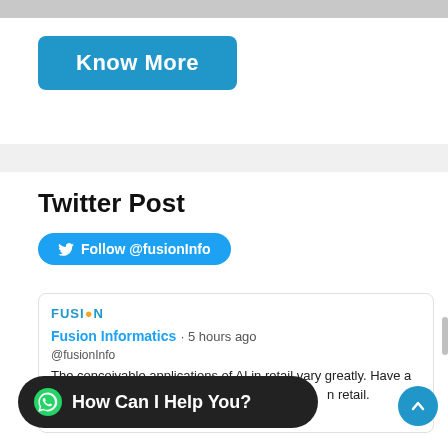[Figure (screenshot): Gray bar at top of page, part of a website screenshot]
[Figure (screenshot): Blue rounded rectangle button labeled 'Know More']
Twitter Post
[Figure (screenshot): Blue pill button with Twitter bird icon and text 'Follow @fusionInfo']
[Figure (screenshot): Tweet card from Fusion Informatics showing a tweet about AI in retail with hashtags #artificialintelligence #technology #cx #ecommerce #digitaltransformation #digital]
[Figure (screenshot): Dark rounded pill bar at bottom with WhatsApp icon and text 'How Can I Help You?']
[Figure (screenshot): Blue circular scroll-to-top button with upward chevron at bottom right]